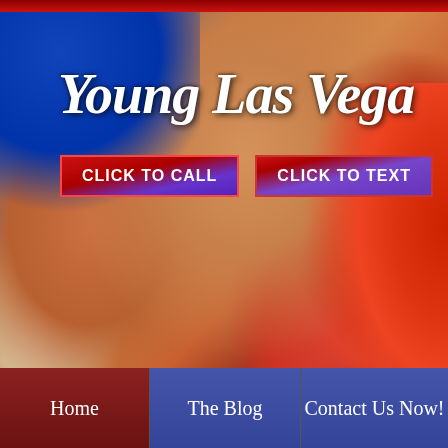[Figure (photo): Website hero banner showing a figure in red costume against blue background]
Young Las Vega
CLICK TO CALL
CLICK TO TEXT
Home | The Blog | Contact Us Now!